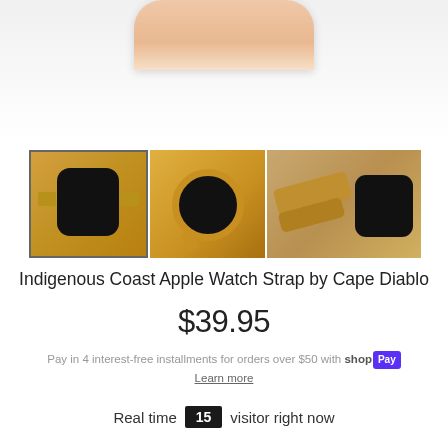[Figure (photo): Top portion of an Apple Watch with rose gold/pink case partially visible at top of page]
[Figure (photo): Three product thumbnail images of the Indigenous Coast Apple Watch Strap by Cape Diablo: first shows front view with black screen and gold/beaded band (selected, with border), second shows back of watch with rose gold case, third shows overhead view of watch on wooden surface]
Indigenous Coast Apple Watch Strap by Cape Diablo
$39.95
Pay in 4 interest-free installments for orders over $50 with shop Pay Learn more
Real time 15 visitor right now